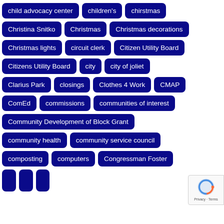child advocacy center
children's
chirstmas
Christina Snitko
Christmas
Christmas decorations
Christmas lights
circuit clerk
Citizen Utility Board
Citizens Utility Board
city
city of joliet
Clarius Park
closings
Clothes 4 Work
CMAP
ComEd
commissions
communities of interest
Community Development of Block Grant
community health
community service council
composting
computers
Congressman Foster